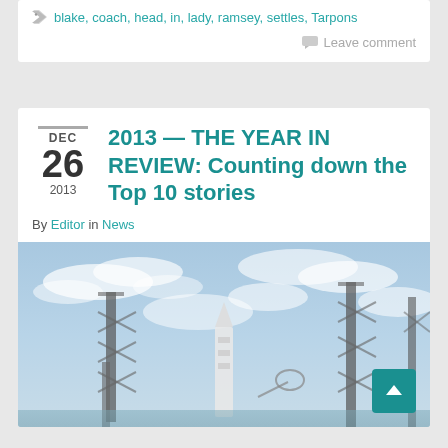blake, coach, head, in, lady, ramsey, settles, Tarpons
Leave comment
2013 — THE YEAR IN REVIEW: Counting down the Top 10 stories
By Editor in News
[Figure (photo): Photograph of a rocket on a launch pad with communication towers and a cloudy sky background]